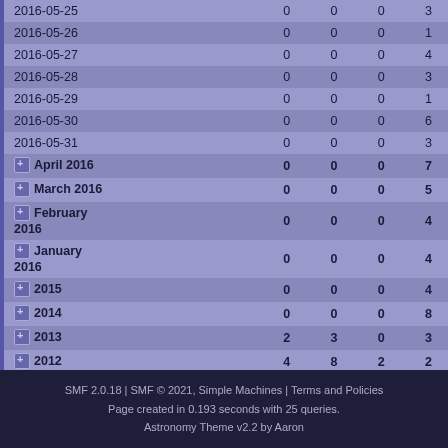| Date/Period | Col1 | Col2 | Col3 | Col4 |
| --- | --- | --- | --- | --- |
| 2016-05-25 | 0 | 0 | 0 | 3 |
| 2016-05-26 | 0 | 0 | 0 | 1 |
| 2016-05-27 | 0 | 0 | 0 | 4 |
| 2016-05-28 | 0 | 0 | 0 | 3 |
| 2016-05-29 | 0 | 0 | 0 | 1 |
| 2016-05-30 | 0 | 0 | 0 | 6 |
| 2016-05-31 | 0 | 0 | 0 | 3 |
| April 2016 | 0 | 0 | 0 | 7 |
| March 2016 | 0 | 0 | 0 | 5 |
| February 2016 | 0 | 0 | 0 | 4 |
| January 2016 | 0 | 0 | 0 | 4 |
| 2015 | 0 | 0 | 0 | 4 |
| 2014 | 0 | 0 | 0 | 8 |
| 2013 | 2 | 3 | 0 | 3 |
| 2012 | 4 | 8 | 2 | 2 |
SMF 2.0.18 | SMF © 2021, Simple Machines | Terms and Policies
Page created in 0.193 seconds with 25 queries.
Astronomy Theme v2.2 by Aaron